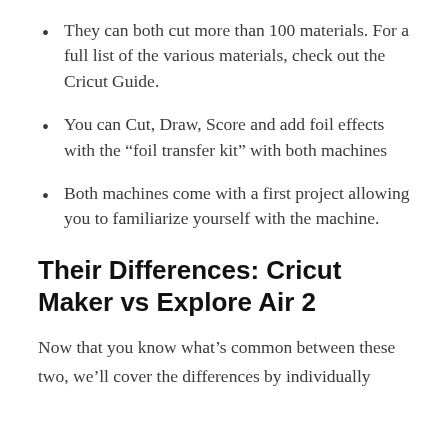They can both cut more than 100 materials. For a full list of the various materials, check out the Cricut Guide.
You can Cut, Draw, Score and add foil effects with the “foil transfer kit” with both machines
Both machines come with a first project allowing you to familiarize yourself with the machine.
Their Differences: Cricut Maker vs Explore Air 2
Now that you know what’s common between these two, we’ll cover the differences by individually